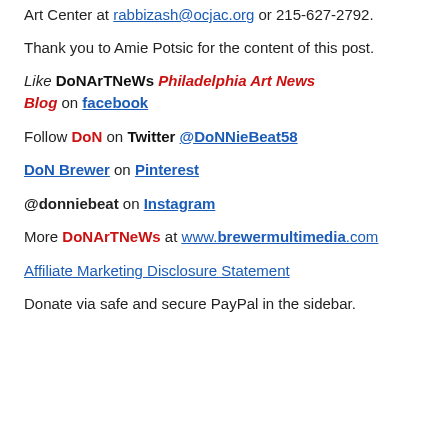Art Center at rabbizash@ocjac.org or 215-627-2792.
Thank you to Amie Potsic for the content of this post.
Like DoNArTNeWs Philadelphia Art News Blog on facebook
Follow DoN on Twitter @DoNNieBeat58
DoN Brewer on Pinterest
@donniebeat on Instagram
More DoNArTNeWs at www.brewermultimedia.com
Affiliate Marketing Disclosure Statement
Donate via safe and secure PayPal in the sidebar.